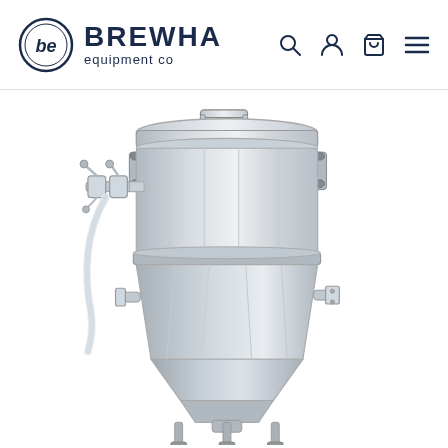[Figure (logo): Brewha Equipment Co logo with circular icon containing stylized 'b' and text 'BREWHA equipment co']
[Figure (photo): Stainless steel conical fermenter/brewing vessel with lid handle, multiple valves/fittings on the side, a tube/hose attachment on the left, and metal leg stand at the bottom. Product from Brewha Equipment Co.]